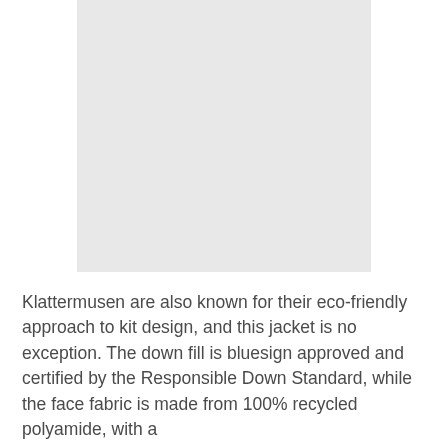[Figure (photo): A light gray rectangular image placeholder area]
Klattermusen are also known for their eco-friendly approach to kit design, and this jacket is no exception. The down fill is bluesign approved and certified by the Responsible Down Standard, while the face fabric is made from 100% recycled polyamide, with a